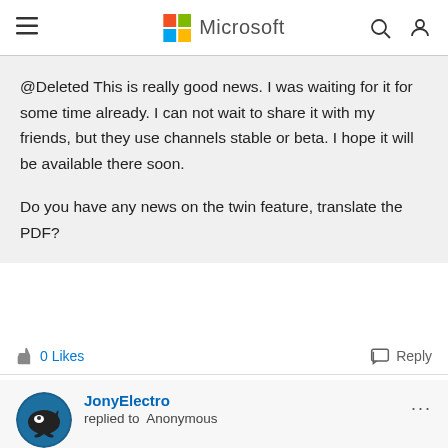Microsoft
@Deleted This is really good news. I was waiting for it for some time already. I can not wait to share it with my friends, but they use channels stable or beta. I hope it will be available there soon.

Do you have any news on the twin feature, translate the PDF?
0 Likes   Reply
JonyElectro
replied to Anonymous
May 28 2020 02:42 PM
Spanish voices doesn't recognize letters with accents